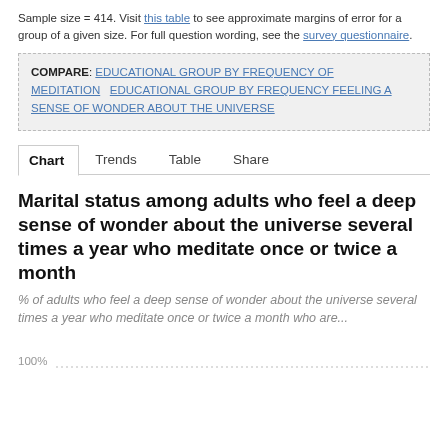Sample size = 414. Visit this table to see approximate margins of error for a group of a given size. For full question wording, see the survey questionnaire.
COMPARE: EDUCATIONAL GROUP BY FREQUENCY OF MEDITATION   EDUCATIONAL GROUP BY FREQUENCY FEELING A SENSE OF WONDER ABOUT THE UNIVERSE
Chart   Trends   Table   Share
Marital status among adults who feel a deep sense of wonder about the universe several times a year who meditate once or twice a month
% of adults who feel a deep sense of wonder about the universe several times a year who meditate once or twice a month who are...
[Figure (bar-chart): Partial bar chart showing 100% gridline at the bottom of the visible area. Chart content is cut off.]